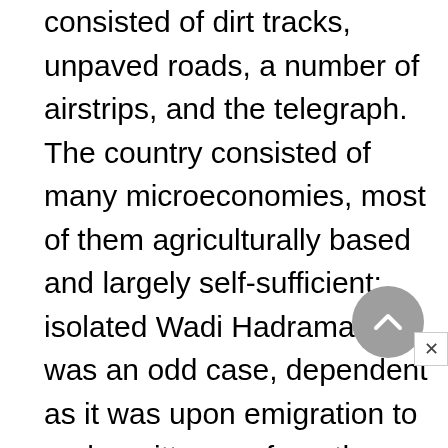consisted of dirt tracks, unpaved roads, a number of airstrips, and the telegraph. The country consisted of many microeconomies, most of them agriculturally based and largely self-sufficient; isolated Wadi Hadramawt was an odd case, dependent as it was upon emigration to and remittances from the Gulf and Southeast Asia. What little market economy existed during the British period mostly centered on the port of Aden and its environs, and this in turn was plugged